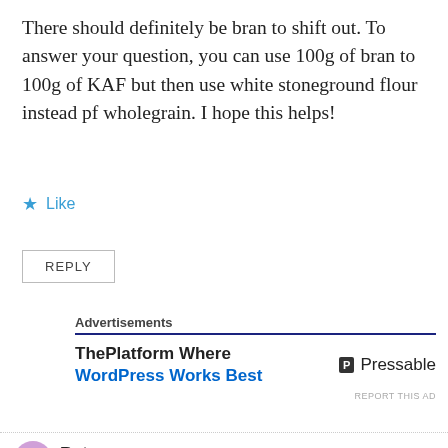There should definitely be bran to shift out. To answer your question, you can use 100g of bran to 100g of KAF but then use white stoneground flour instead pf wholegrain. I hope this helps!
★ Like
REPLY
Advertisements
ThePlatform Where WordPress Works Best   P Pressable
REPORT THIS AD
Peter
June 12, 2020 at 8:36 pm
Thanks. I thought my sieve was pretty fine but it only yielded a minuscule amount of slightly